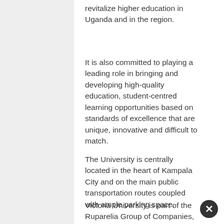revitalize higher education in Uganda and in the region.
It is also committed to playing a leading role in bringing and developing high-quality education, student-centred learning opportunities based on standards of excellence that are unique, innovative and difficult to match.
The University is centrally located in the heart of Kampala City and on the main public transportation routes coupled with ample parking space.
Victoria University is part of the Ruparelia Group of Companies,